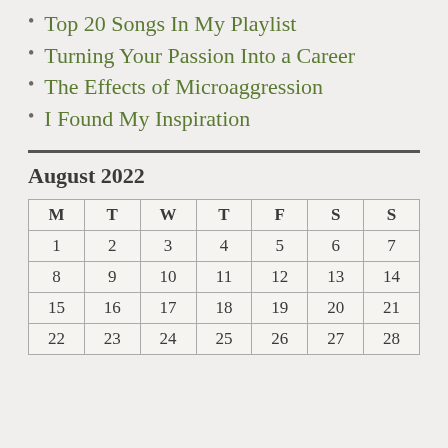Top 20 Songs In My Playlist
Turning Your Passion Into a Career
The Effects of Microaggression
I Found My Inspiration
August 2022
| M | T | W | T | F | S | S |
| --- | --- | --- | --- | --- | --- | --- |
| 1 | 2 | 3 | 4 | 5 | 6 | 7 |
| 8 | 9 | 10 | 11 | 12 | 13 | 14 |
| 15 | 16 | 17 | 18 | 19 | 20 | 21 |
| 22 | 23 | 24 | 25 | 26 | 27 | 28 |